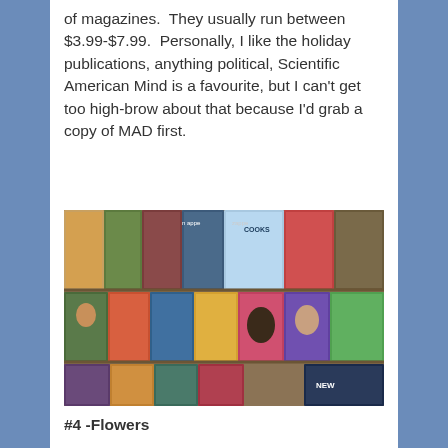of magazines.  They usually run between $3.99-$7.99.  Personally, I like the holiday publications, anything political, Scientific American Mind is a favourite, but I can't get too high-brow about that because I'd grab a copy of MAD first.
[Figure (photo): A magazine rack filled with many colorful magazine covers displayed on shelves, showing various publications including COOKS and others.]
#4 -Flowers